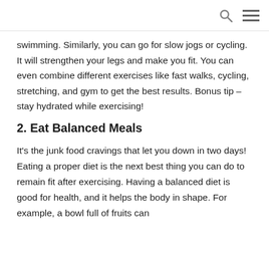swimming. Similarly, you can go for slow jogs or cycling. It will strengthen your legs and make you fit. You can even combine different exercises like fast walks, cycling, stretching, and gym to get the best results. Bonus tip – stay hydrated while exercising!
2. Eat Balanced Meals
It's the junk food cravings that let you down in two days! Eating a proper diet is the next best thing you can do to remain fit after exercising. Having a balanced diet is good for health, and it helps the body in shape. For example, a bowl full of fruits can